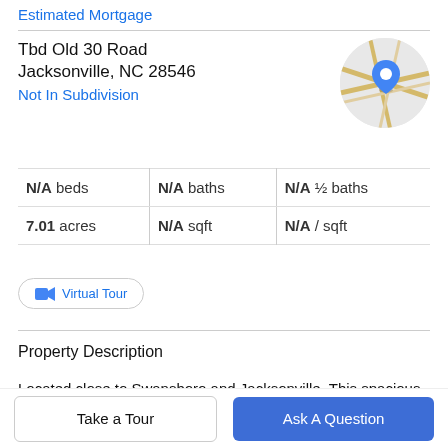Estimated Mortgage
Tbd Old 30 Road
Jacksonville, NC 28546
Not In Subdivision
[Figure (map): Circular map thumbnail showing road map with blue location pin marker]
| Beds | Baths | Half Baths |
| --- | --- | --- |
| N/A beds | N/A baths | N/A ½ baths |
| 7.01 acres | N/A sqft | N/A / sqft |
Virtual Tour
Property Description
Located close to Swansboro and Jacksonville. This spacious lot is waiting on you. Bring your own builder or
Take a Tour
Ask A Question